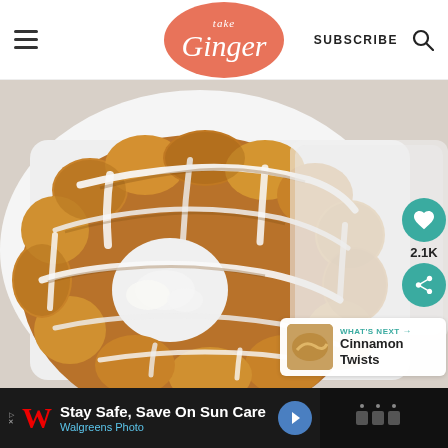Fake Ginger — SUBSCRIBE (search icon)
[Figure (photo): Overhead close-up photo of a glazed monkey bread ring on a white square plate, with white icing drizzled over golden-brown pull-apart bread pieces arranged in a ring/bundt shape]
2.1K
[Figure (photo): Small thumbnail of cinnamon twists]
WHAT'S NEXT → Cinnamon Twists
[Figure (infographic): Advertisement banner: Stay Safe, Save On Sun Care — Walgreens Photo, with navigation icon]